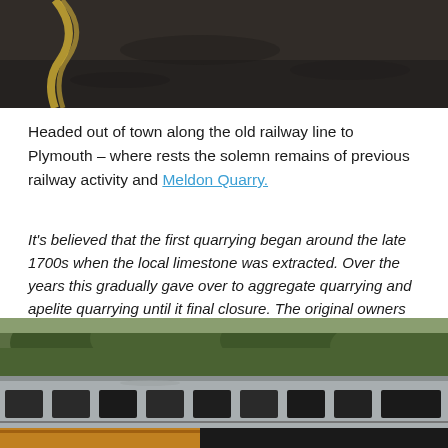[Figure (photo): Top portion of a photograph showing a dark gravelly/sandy surface with a partial view of what appears to be a yellow curved object or rail at the top left]
Headed out of town along the old railway line to Plymouth – where rests the solemn remains of previous railway activity and Meldon Quarry.
It's believed that the first quarrying began around the late 1700s when the local limestone was extracted. Over the years this gradually gave over to aggregate quarrying and apelite quarrying until it final closure. The original owners of the quarry were the London and South Western Railway and then came Britsh Rail and finally EEC Aggregates.
[Figure (photo): Photograph of abandoned derelict railway carriages or buildings with broken windows, overgrown with trees and vegetation on a hillside behind]